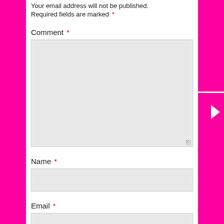Your email address will not be published.
Required fields are marked *
Comment *
[Figure (other): Comment textarea input box (large, gray background with resize handle)]
Name *
[Figure (other): Name text input field (gray background)]
Email *
[Figure (other): Email text input field (gray background, partially visible)]